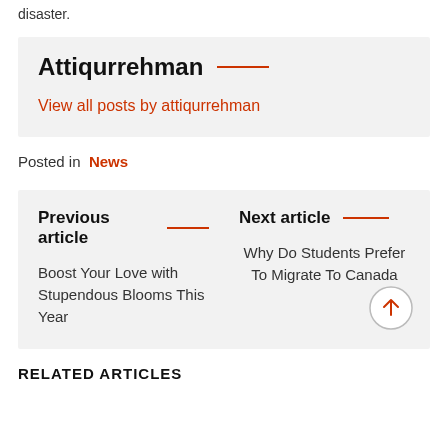disaster.
Attiqurrehman
View all posts by attiqurrehman
Posted in  News
Previous article
Boost Your Love with Stupendous Blooms This Year
Next article
Why Do Students Prefer To Migrate To Canada
RELATED ARTICLES